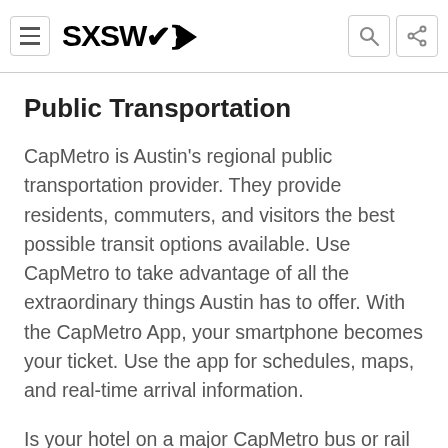SXSWL [logo with hamburger menu, search, and share icons]
Public Transportation
CapMetro is Austin's regional public transportation provider. They provide residents, commuters, and visitors the best possible transit options available. Use CapMetro to take advantage of all the extraordinary things Austin has to offer. With the CapMetro App, your smartphone becomes your ticket. Use the app for schedules, maps, and real-time arrival information.
Is your hotel on a major CapMetro bus or rail route? Use our Hotel Transportation page to